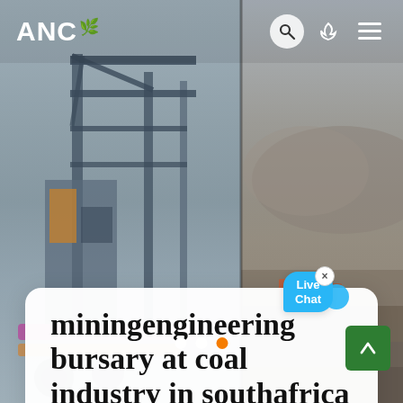[Figure (screenshot): Website screenshot of ANC page showing mining engineering article with industrial machinery on left and coal mine site on right as background images]
ANC 🌿  [search icon] [moon icon] [menu icon]
miningengineering bursary at coal industry in southafrica